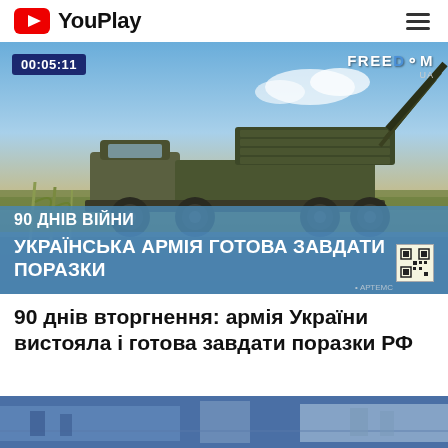YouPlay
[Figure (screenshot): Video thumbnail showing a military truck with rocket launcher system (BM-21 Grad MLRS) in a field. Timestamp 00:05:11 shown top-left. FREEDOM UA watermark top-right. Banner overlay reads: '90 ДНІВ ВІЙНИ / УКРАЇНСЬКА АРМІЯ ГОТОВА ЗАВДАТИ ПОРАЗКИ']
90 днів вторгнення: армія України вистояла і готова завдати поразки РФ